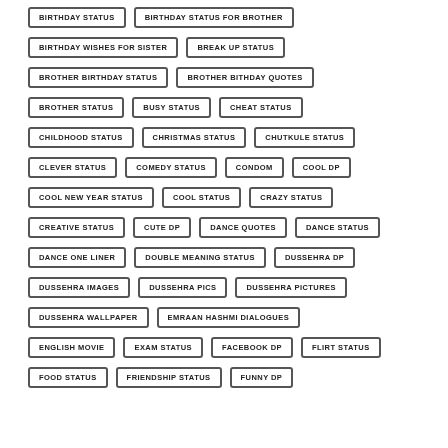BIRTHDAY STATUS
BIRTHDAY STATUS FOR BROTHER
BIRTHDAY WISHES FOR SISTER
BREAK UP STATUS
BROTHER BIRTHDAY STATUS
BROTHER BITHDAY QUOTES
BROTHER STATUS
BUSY STATUS
CHEAT STATUS
CHILDHOOD STATUS
CHRISTMAS STATUS
CHUTKULE STATUS
CLEVER STATUS
COMEDY STATUS
CONDOM
COOL DP
COOL NEW YEAR STATUS
COOL STATUS
CRAZY STATUS
CREATIVE STATUS
CUTE DP
DANCE QUOTES
DANCE STATUS
DANCE ONE LINER
DOUBLE MEANING STATUS
DUSSEHRA DP
DUSSEHRA IMAGES
DUSSEHRA PICS
DUSSEHRA PICTURES
DUSSEHRA WALLPAPER
EMRAAN HASHMI DIALOGUES
ENGLISH MOVIE
EXAM STATUS
FACEBOOK DP
FLIRT STATUS
FOOD STATUS
FRIENDSHIP STATUS
FUNNY DP